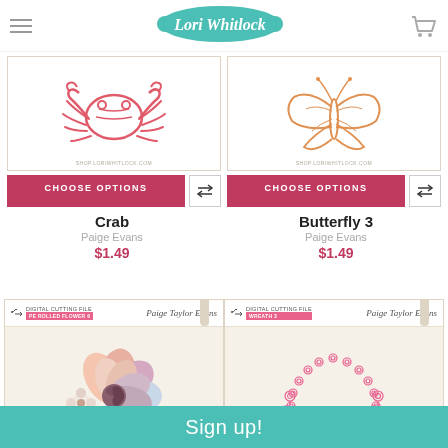Lori Whitlock
[Figure (illustration): Crab outline illustration in coral/red color on product card]
CHOOSE OPTIONS
Crab
Paige Evans
$1.49
[Figure (illustration): Butterfly outline illustration in orange color on product card]
CHOOSE OPTIONS
Butterfly 3
Paige Evans
$1.49
[Figure (photo): PE Rolled Flower product package with photo of paper flower craft]
[Figure (illustration): Wreath 3 product package with pink flower wreath outline illustration]
Sign up!